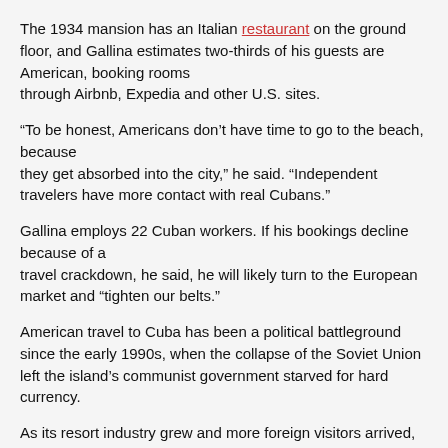The 1934 mansion has an Italian restaurant on the ground floor, and Gallina estimates two-thirds of his guests are American, booking rooms through Airbnb, Expedia and other U.S. sites.
“To be honest, Americans don’t have time to go to the beach, because they get absorbed into the city,” he said. “Independent travelers have more contact with real Cubans.”
Gallina employs 22 Cuban workers. If his bookings decline because of a travel crackdown, he said, he will likely turn to the European market and “tighten our belts.”
American travel to Cuba has been a political battleground since the early 1990s, when the collapse of the Soviet Union left the island’s communist government starved for hard currency.
As its resort industry grew and more foreign visitors arrived, the Castro government’s enemies in Miami and in the halls of Congress fought to restrict Americans from going — knowing their dollars could undermine efforts to choke the Cuban economy.